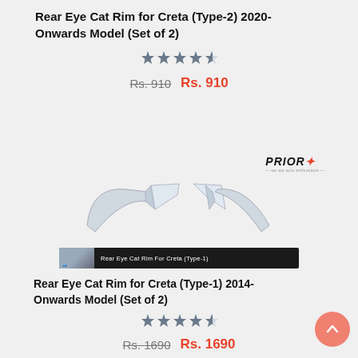Rear Eye Cat Rim for Creta (Type-2) 2020-Onwards Model (Set of 2)
[Figure (other): 4 star rating out of 5 stars]
Rs. 910  Rs. 910
[Figure (photo): Product photo of chrome Rear Eye Cat Rim for Creta Type-1, shown as two elongated chrome trim pieces, with PRIOR logo top right and product banner at bottom]
Rear Eye Cat Rim for Creta (Type-1) 2014-Onwards Model (Set of 2)
[Figure (other): 4 star rating out of 5 stars]
Rs. 1690  Rs. 1690